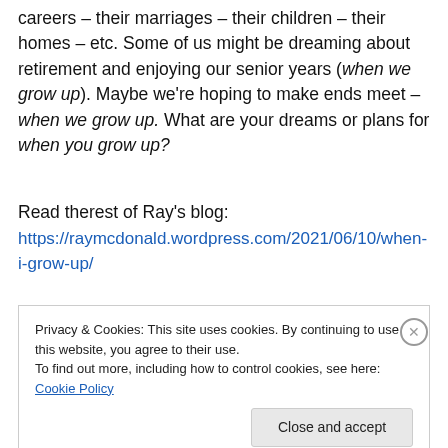careers – their marriages – their children – their homes – etc. Some of us might be dreaming about retirement and enjoying our senior years (when we grow up). Maybe we're hoping to make ends meet – when we grow up. What are your dreams or plans for when you grow up?
Read therest of Ray's blog:
https://raymcdonald.wordpress.com/2021/06/10/when-i-grow-up/
Privacy & Cookies: This site uses cookies. By continuing to use this website, you agree to their use.
To find out more, including how to control cookies, see here: Cookie Policy
Close and accept